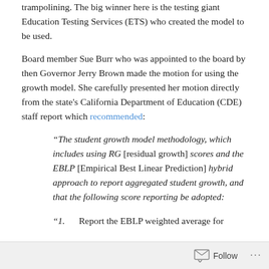trampolining. The big winner here is the testing giant Education Testing Services (ETS) who created the model to be used.
Board member Sue Burr who was appointed to the board by then Governor Jerry Brown made the motion for using the growth model. She carefully presented her motion directly from the state's California Department of Education (CDE) staff report which recommended:
“The student growth model methodology, which includes using RG [residual growth] scores and the EBLP [Empirical Best Linear Prediction] hybrid approach to report aggregated student growth, and that the following score reporting be adopted:
“1.     Report the EBLP weighted average for...
Follow